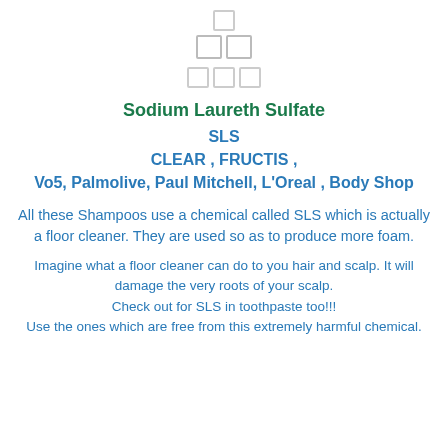[Figure (other): Stacked logo/icon placeholder boxes arranged in pyramid: one box on top, two boxes in second row, three boxes in third row]
Sodium Laureth Sulfate
SLS
CLEAR , FRUCTIS ,
Vo5, Palmolive, Paul Mitchell, L'Oreal , Body Shop
All these Shampoos use a chemical called SLS which is actually a floor cleaner. They are used so as to produce more foam.
Imagine what a floor cleaner can do to you hair and scalp. It will damage the very roots of your scalp.
Check out for SLS in toothpaste too!!!
Use the ones which are free from this extremely harmful chemical.